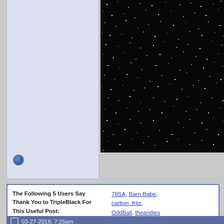[Figure (photo): Left user panel area with light blue/lavender background, partially visible. Contains an offline/online status circle icon at the bottom left.]
[Figure (photo): Black starfield photo showing many small white dots/stars against a near-black background, partially cropped on the right side.]
The Following 5 Users Say Thank You to TripleBlack For This Useful Post:
78SA, Barn Babe, carlton_fritz, OddBall, theandies
03-27-2018, 7:25am
carlton_fritz